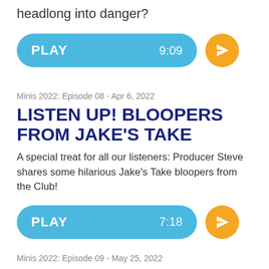headlong into danger?
[Figure (other): Blue play button pill with PLAY label and 9:09 duration, with orange share icon circle]
Minis 2022: Episode 08 - Apr 6, 2022
LISTEN UP! BLOOPERS FROM JAKE'S TAKE
A special treat for all our listeners: Producer Steve shares some hilarious Jake's Take bloopers from the Club!
[Figure (other): Blue play button pill with PLAY label and 7:18 duration, with orange share icon circle]
Minis 2022: Episode 09 - May 25, 2022